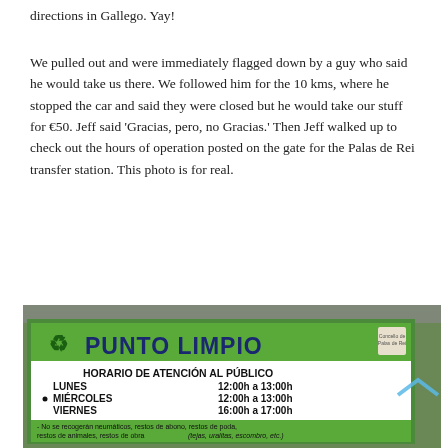directions in Gallego. Yay!
We pulled out and were immediately flagged down by a guy who said he would take us there. We followed him for the 10 kms, where he stopped the car and said they were closed but he would take our stuff for €50. Jeff said ‘Gracias, pero, no Gracias.’ Then Jeff walked up to check out the hours of operation posted on the gate for the Palas de Rei transfer station. This photo is for real.
[Figure (photo): A green and white sign reading PUNTO LIMPIO (clean point / recycling station) with a recycling symbol and a coat of arms for Concello de Palas de Rei. Below the header the sign lists public hours: HORARIO DE ATENCIÓN AL PÚBLICO - LUNES 12:00h a 13:00h, MIÉRCOLES 12:00h a 13:00h, VIERNES 16:00h a 17:00h. A green footer section contains exclusions text: No se recogerán neumáticos, restos de abono, restos de poda, restos de animales, restos de obra (tejas, uralitas, escombro, etc.) and more partially visible text.]